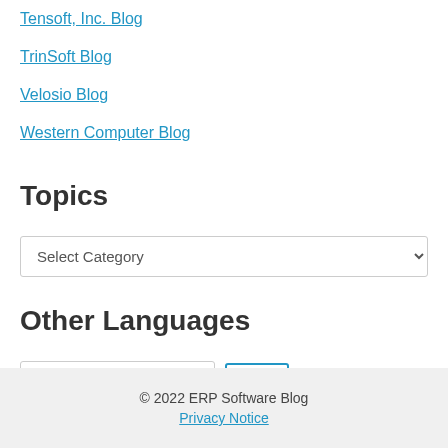Tensoft, Inc. Blog
TrinSoft Blog
Velosio Blog
Western Computer Blog
Topics
Select Category (dropdown)
Other Languages
Choose a language ... (dropdown) Go (button)
© 2022 ERP Software Blog
Privacy Notice